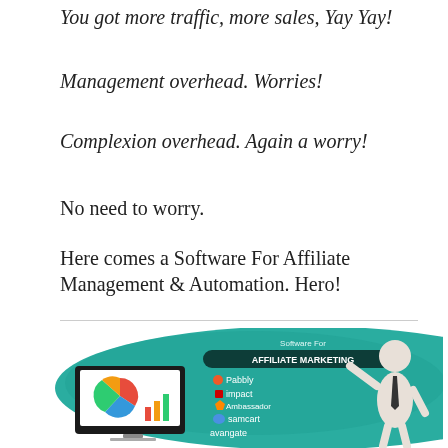You got more traffic, more sales, Yay Yay!
Management overhead. Worries!
Complexion overhead. Again a worry!
No need to worry.
Here comes a Software For Affiliate Management & Automation. Hero!
[Figure (infographic): Infographic showing 'Software For Affiliate Marketing' with a teal/green background, a monitor displaying a pie chart and bar graph, and a list of affiliate software: Pabbly, impact, Ambassador, samcart, avangate. A 3D white figure stands to the right gesturing.]